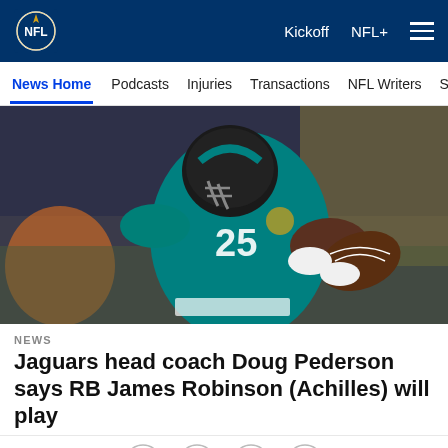NFL — Kickoff  NFL+
News Home  Podcasts  Injuries  Transactions  NFL Writers  Se
[Figure (photo): NFL Jacksonville Jaguars running back wearing teal #25 jersey and black helmet, running with football tucked under arm in a stadium.]
NEWS
Jaguars head coach Doug Pederson says RB James Robinson (Achilles) will play